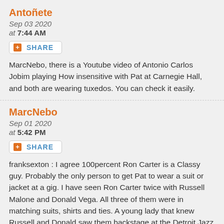Antoñete
Sep 03 2020
at 7:44 AM
SHARE
MarcNebo, there is a Youtube video of Antonio Carlos Jobim playing How insensitive with Pat at Carnegie Hall, and both are wearing tuxedos. You can check it easily.
MarcNebo
Sep 01 2020
at 5:42 PM
SHARE
franksexton : I agree 100percent Ron Carter is a Classy guy. Probably the only person to get Pat to wear a suit or jacket at a gig. I have seen Ron Carter twice with Russell Malone and Donald Vega. All three of them were in matching suits, shirts and ties. A young lady that knew Russell and Donald saw them backstage at the Detroit Jazz Festival. She said they looked like Undertakers and